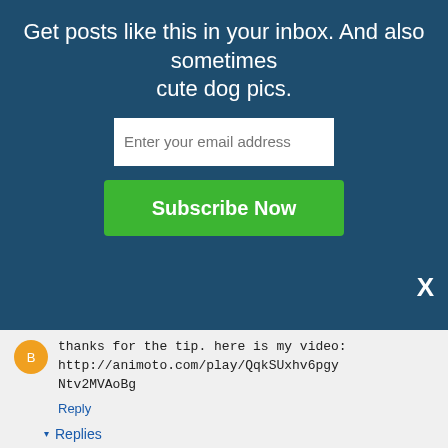Get posts like this in your inbox. And also sometimes cute dog pics.
Enter your email address
Subscribe Now
X
thanks for the tip. here is my video: http://animoto.com/play/QqkSUxhv6pgyNtv2MVAoBg
Reply
▾ Replies
Bodywork Buddy May 7, 2012 at 11:11 AM
Beautiful, Luisa! Thanks for sharing. I especially love the Sibling classes available, too :-)
Luisa B May 7, 2012 at 2:11 PM
thank you. my daughters